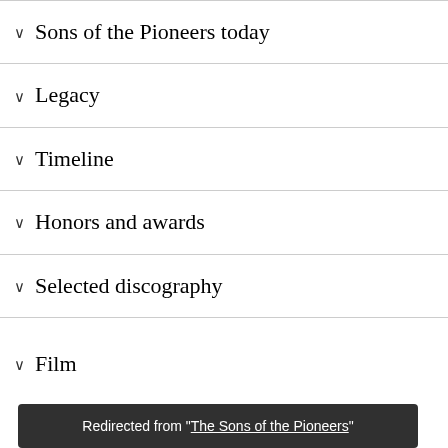Sons of the Pioneers today
Legacy
Timeline
Honors and awards
Selected discography
Filmography
Redirected from "The Sons of the Pioneers"